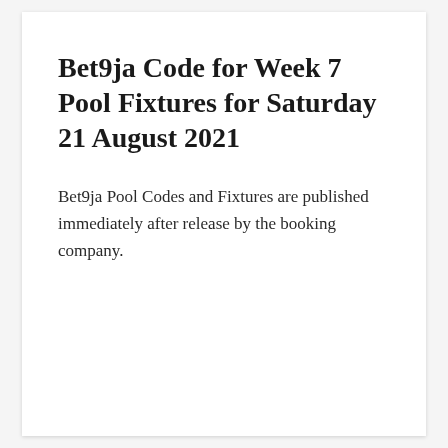Bet9ja Code for Week 7 Pool Fixtures for Saturday 21 August 2021
Bet9ja Pool Codes and Fixtures are published immediately after release by the booking company.